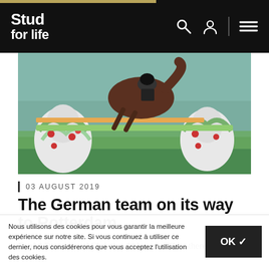Stud for life
[Figure (photo): A horse and rider jumping over a decorated show-jumping fence with artistic horse head sculptures decorated with flowers, surrounded by a crowd at an equestrian competition.]
03 AUGUST 2019
The German team on its way to Rotterdam.
Daniel Deusser and Christian Ahlmann will be there!
Nous utilisons des cookies pour vous garantir la meilleure expérience sur notre site. Si vous continuez à utiliser ce dernier, nous considérerons que vous acceptez l'utilisation des cookies.